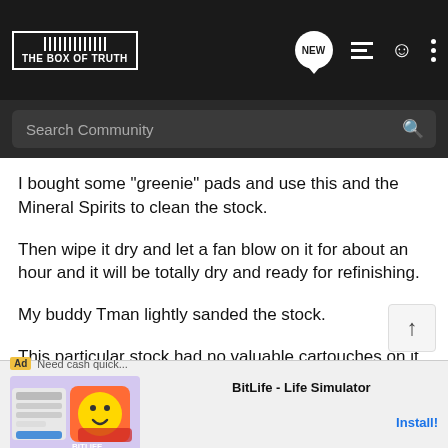THE BOX OF TRUTH
I bought some "greenie" pads and use this and the Mineral Spirits to clean the stock.
Then wipe it dry and let a fan blow on it for about an hour and it will be totally dry and ready for refinishing.
My buddy Tman lightly sanded the stock.
This particular stock had no valuable cartouches on it, and there was no reason not to lightly sand it.
He then stained it and finally rubbed it down with a satin finish.
[Figure (screenshot): Ad banner for BitLife - Life Simulator app with Install button]